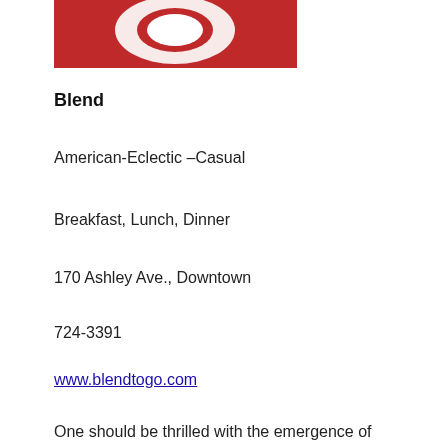[Figure (photo): Partial view of a restaurant logo or sign with red background and white design, cropped at top of page.]
Blend
American-Eclectic –Casual
Breakfast, Lunch, Dinner
170 Ashley Ave., Downtown
724-3391
www.blendtogo.com
One should be thrilled with the emergence of